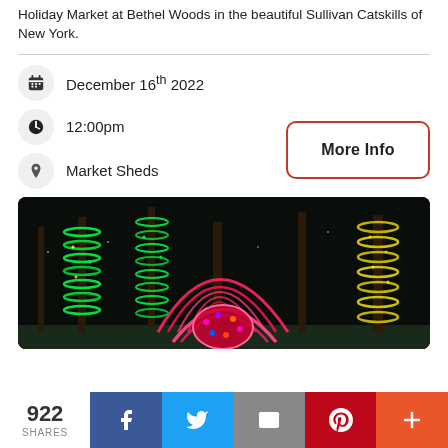Holiday Market at Bethel Woods in the beautiful Sullivan Catskills of New York.
December 16th 2022
12:00pm
Market Sheds
More Info
[Figure (photo): Night-time photo of holiday light display with trees wrapped in green, yellow, and red lights, and illuminated arched tunnel structures in pink/red lights at Bethel Woods.]
922 SHARES